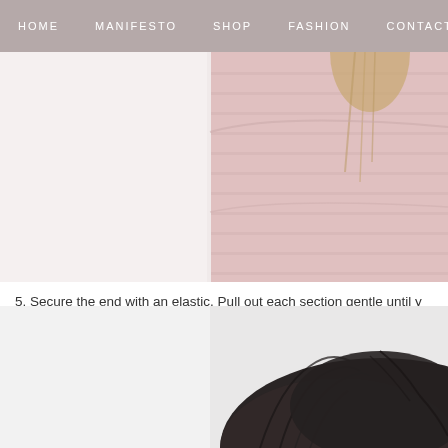HOME   MANIFESTO   SHOP   FASHION   CONTACT
[Figure (photo): Person wearing a pink knit sweater, cropped view showing torso and partial head with blonde hair]
5. Secure the end with an elastic. Pull out each section gentle until you have pulled out the sections and it will look like THIS.
6. To hide the elastic, wrap a small section of hair around the elastic and pin to the ponytail.
[Figure (photo): Close-up of dark hair styled in an updo or ponytail, viewed from behind/side]